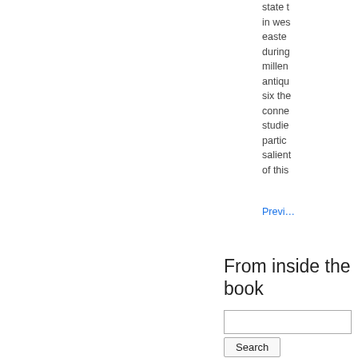state in wes- easte- during millen- antiqu- six the- conne- studie- partic- salien- of this
Previ-
From inside the book
Search